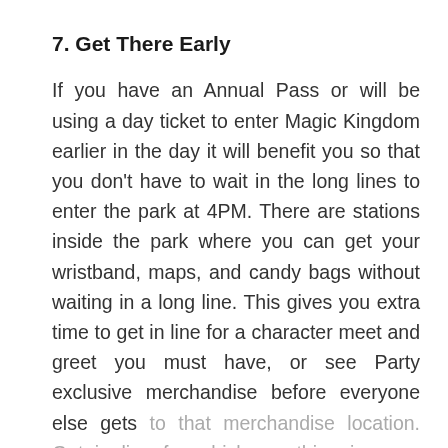7. Get There Early
If you have an Annual Pass or will be using a day ticket to enter Magic Kingdom earlier in the day it will benefit you so that you don't have to wait in the long lines to enter the park at 4PM. There are stations inside the park where you can get your wristband, maps, and candy bags without waiting in a long line. This gives you extra time to get in line for a character meet and greet you must have, or see Party exclusive merchandise before everyone else gets to that merchandise location. Get in line for whichever thing is more important to